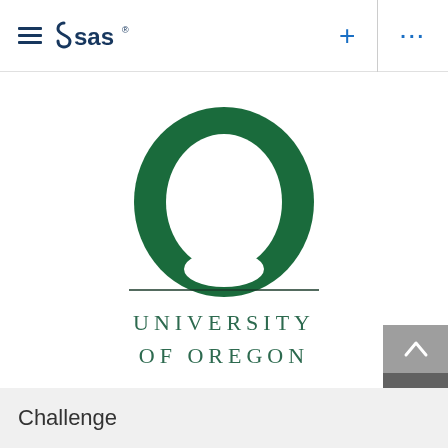[Figure (screenshot): SAS software navigation bar with hamburger menu icon, SAS logo, plus button, divider, and ellipsis (more) button]
[Figure (logo): University of Oregon logo: large green O letterform with horizontal rule and 'UNIVERSITY OF OREGON' text in green serif capitals]
Challenge